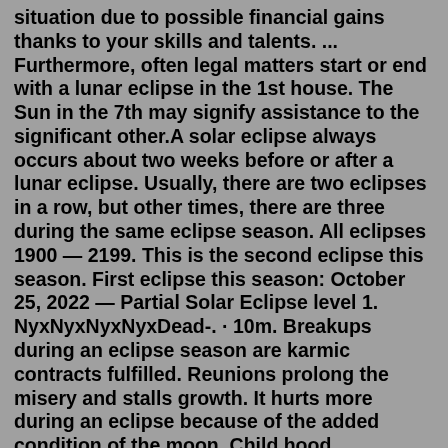situation due to possible financial gains thanks to your skills and talents. ... Furthermore, often legal matters start or end with a lunar eclipse in the 1st house. The Sun in the 7th may signify assistance to the significant other.A solar eclipse always occurs about two weeks before or after a lunar eclipse. Usually, there are two eclipses in a row, but other times, there are three during the same eclipse season. All eclipses 1900 — 2199. This is the second eclipse this season. First eclipse this season: October 25, 2022 — Partial Solar Eclipse level 1. NyxNyxNyxNyxDead-. · 10m. Breakups during an eclipse season are karmic contracts fulfilled. Reunions prolong the misery and stalls growth. It hurts more during an eclipse because of the added condition of the moon. Child hood abandonment is a big issue for many during this time.A Lunar Eclipse today is Super Flower Blood Moon - May 16th Eclipses are dynamic cosmic occurrences that activate the lunar nodes. ... The Lunar Eclipse on May 16th activates your financial...